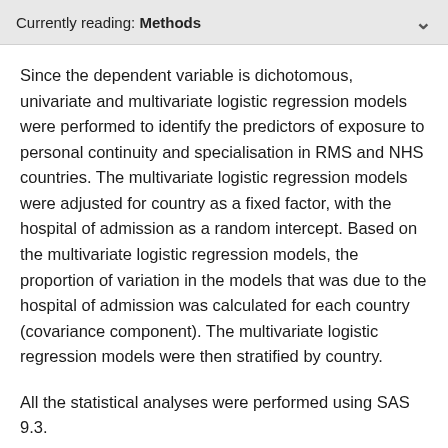Currently reading: Methods
Since the dependent variable is dichotomous, univariate and multivariate logistic regression models were performed to identify the predictors of exposure to personal continuity and specialisation in RMS and NHS countries. The multivariate logistic regression models were adjusted for country as a fixed factor, with the hospital of admission as a random intercept. Based on the multivariate logistic regression models, the proportion of variation in the models that was due to the hospital of admission was calculated for each country (covariance component). The multivariate logistic regression models were then stratified by country.
All the statistical analyses were performed using SAS 9.3.